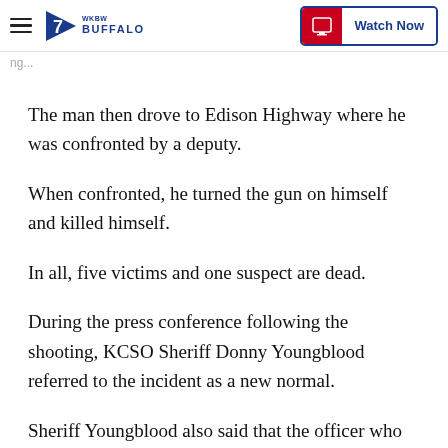≡ 7 WKBW BUFFALO | Watch Now
The man then drove to Edison Highway where he was confronted by a deputy.
When confronted, he turned the gun on himself and killed himself.
In all, five victims and one suspect are dead.
During the press conference following the shooting, KCSO Sheriff Donny Youngblood referred to the incident as a new normal.
Sheriff Youngblood also said that the officer who